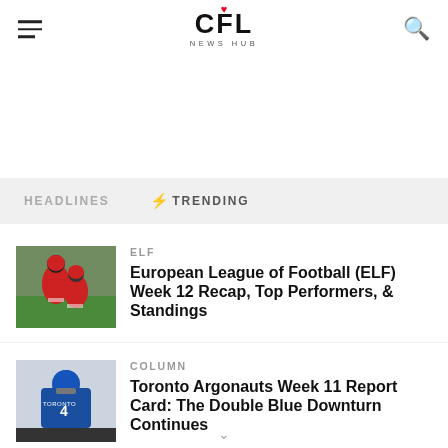CFL NEWS HUB
HEADLINES | ⚡TRENDING
ELF
European League of Football (ELF) Week 12 Recap, Top Performers, & Standings
COLUMN
Toronto Argonauts Week 11 Report Card: The Double Blue Downturn Continues